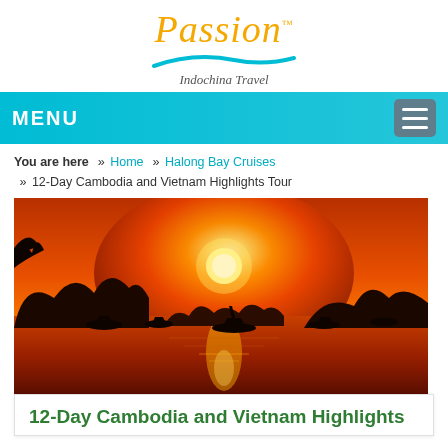[Figure (logo): Passion Indochina Travel logo with orange italic script 'Passion' text, teal swoosh underline, and subtitle 'Indochina Travel']
MENU
You are here  » Home  » Halong Bay Cruises  » 12-Day Cambodia and Vietnam Highlights Tour
[Figure (photo): Sunset over Halong Bay with silhouetted limestone karst islands and boats on orange-red glowing water]
12-Day Cambodia and Vietnam Highlights